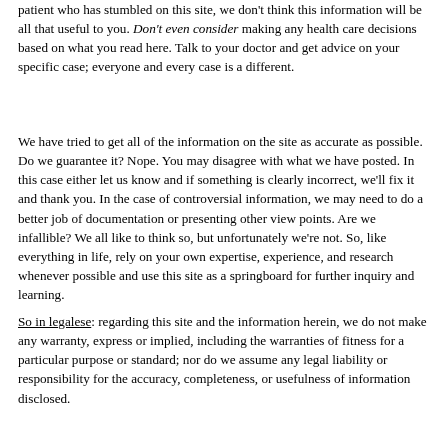patient who has stumbled on this site, we don't think this information will be all that useful to you. Don't even consider making any health care decisions based on what you read here. Talk to your doctor and get advice on your specific case; everyone and every case is a different.
We have tried to get all of the information on the site as accurate as possible. Do we guarantee it? Nope. You may disagree with what we have posted. In this case either let us know and if something is clearly incorrect, we'll fix it and thank you. In the case of controversial information, we may need to do a better job of documentation or presenting other view points. Are we infallible? We all like to think so, but unfortunately we're not. So, like everything in life, rely on your own expertise, experience, and research whenever possible and use this site as a springboard for further inquiry and learning.
So in legalese: regarding this site and the information herein, we do not make any warranty, express or implied, including the warranties of fitness for a particular purpose or standard; nor do we assume any legal liability or responsibility for the accuracy, completeness, or usefulness of information disclosed.